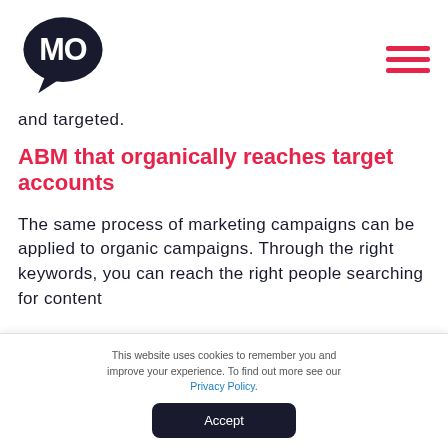[Figure (logo): MO logo — speech bubble with 'MO' text in dark navy, on white background]
and targeted.
ABM that organically reaches target accounts
The same process of marketing campaigns can be applied to organic campaigns. Through the right keywords, you can reach the right people searching for content
This website uses cookies to remember you and improve your experience. To find out more see our Privacy Policy.